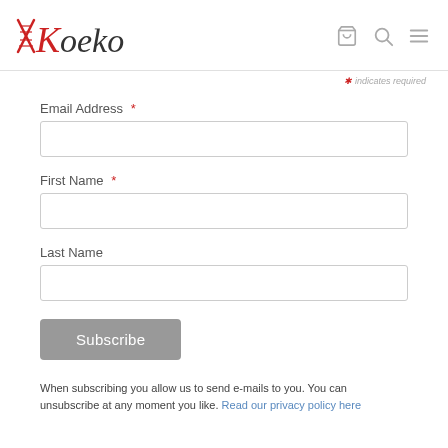Koekoek
* indicates required
Email Address *
First Name *
Last Name
Subscribe
When subscribing you allow us to send e-mails to you. You can unsubscribe at any moment you like. Read our privacy policy here